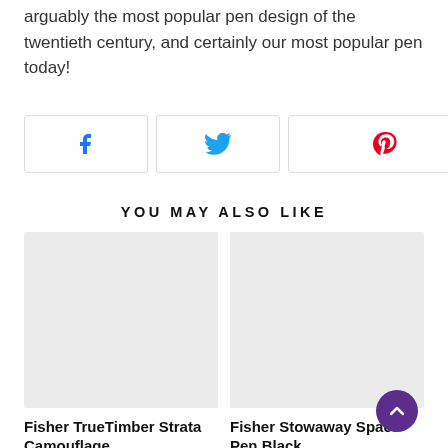arguably the most popular pen design of the twentieth century, and certainly our most popular pen today!
[Figure (infographic): Three social sharing buttons: Facebook (blue F icon), Twitter (blue bird icon), Pinterest (red P icon)]
YOU MAY ALSO LIKE
[Figure (photo): Placeholder image for Fisher TrueTimber Strata Camouflage product]
[Figure (photo): Placeholder image for Fisher Stowaway Space Pen Black product]
Fisher TrueTimber Strata Camouflage
Fisher Stowaway Space Pen Black